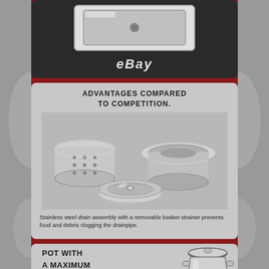[Figure (photo): Top panel showing a stainless steel kitchen sink viewed from above, with eBay watermark/label below it on a dark background.]
[Figure (infographic): Middle panel on gray background titled 'ADVANTAGES COMPARED TO COMPETITION.' showing three stainless steel drain assembly components: a basket strainer cup, a drain ring, and a flat drain disc. Caption below describes the stainless steel drain assembly with removable basket strainer.]
Stainless steel drain assembly with a removable basket strainer prevents food and debris clogging the drainpipe.
[Figure (infographic): Bottom panel showing text 'POT WITH A MAXIMUM DIAMETER OF 18.5" CAN FIT INTO.' alongside an illustration of a pot with handles and lid, with a measurement indicator showing 18.5".]